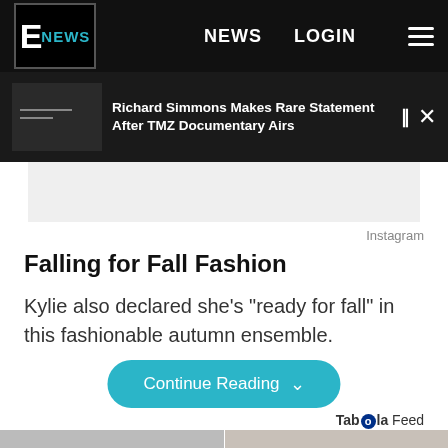E! NEWS | NEWS | LOGIN
Richard Simmons Makes Rare Statement After TMZ Documentary Airs
[Figure (photo): Gray placeholder image for ad or article photo]
Instagram
Falling for Fall Fashion
Kylie also declared she's "ready for fall" in this fashionable autumn ensemble.
Continue Reading
Taboola Feed
[Figure (photo): Bottom strip showing partial fashion photos]